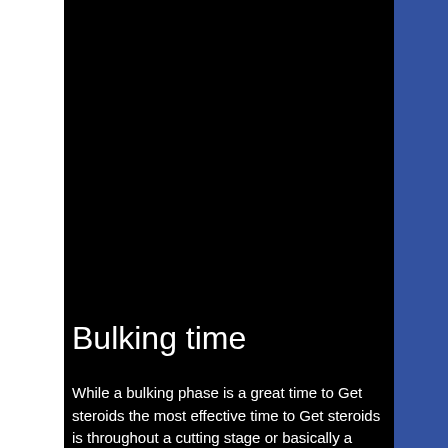[Figure (photo): Full-page background image split into three vertical sections: white on the left, black in the center (showing a dark muscular figure), and blue on the right.]
Bulking time
While a bulking phase is a great time to Get steroids the most effective time to Get steroids is throughout a cutting stage or basically a stage where we are aiming to shed body-fat. A lot of people who get steroid